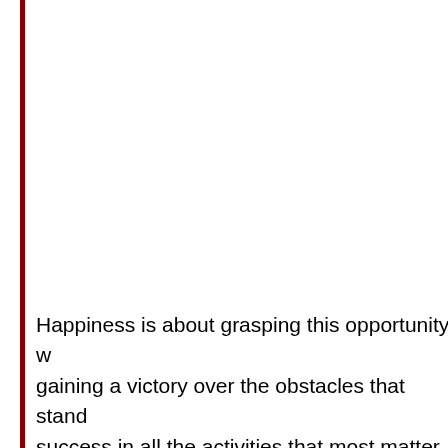Happiness is about grasping this opportunity w... gaining a victory over the obstacles that stand... success in all the activities that most matter to... often strenuous and always limited, precarious... we are bound to lose the battle in the end; but... victory all the more precious and worthy of sav...
When trying to define the activities in which w...